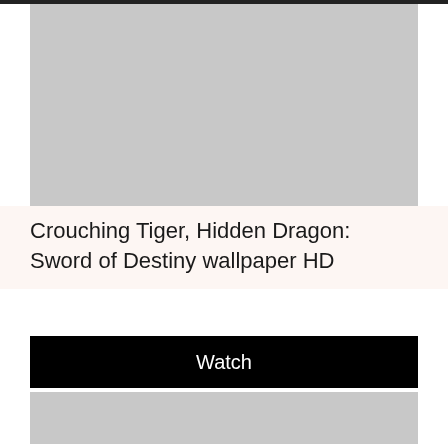[Figure (photo): Gray placeholder image area at top of page]
Crouching Tiger, Hidden Dragon: Sword of Destiny wallpaper HD
Watch
[Figure (photo): Gray placeholder image area at bottom of page]